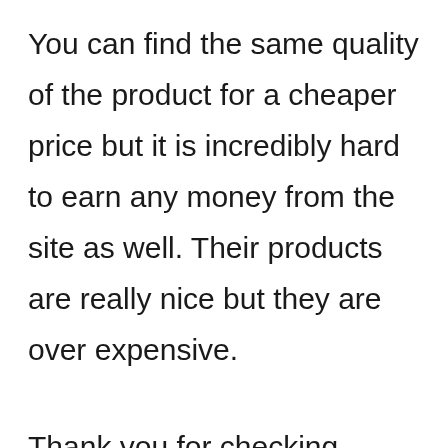You can find the same quality of the product for a cheaper price but it is incredibly hard to earn any money from the site as well. Their products are really nice but they are over expensive.
Thank you for checking Melaleuca Review, If you want to earn money by